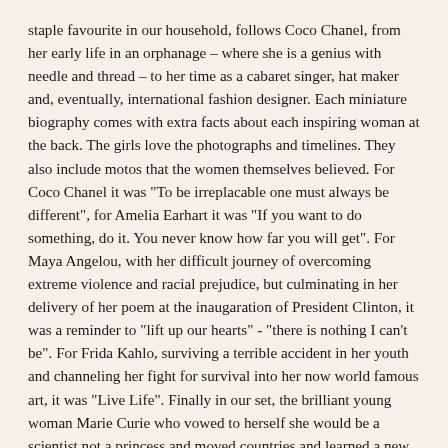staple favourite in our household, follows Coco Chanel, from her early life in an orphanage – where she is a genius with needle and thread – to her time as a cabaret singer, hat maker and, eventually, international fashion designer. Each miniature biography comes with extra facts about each inspiring woman at the back. The girls love the photographs and timelines. They also include motos that the women themselves believed. For Coco Chanel it was "To be irreplacable one must always be different", for Amelia Earhart it was "If you want to do something, do it. You never know how far you will get". For Maya Angelou, with her difficult journey of overcoming extreme violence and racial prejudice, but culminating in her delivery of her poem at the inaugaration of President Clinton, it was a reminder to "lift up our hearts" - "there is nothing I can't be". For Frida Kahlo, surviving a terrible accident in her youth and channeling her fight for survival into her now world famous art, it was "Live Life". Finally in our set, the brilliant young woman Marie Curie who vowed to herself she would be a scientist not a princess and moved countries and learned a new language in order to be able to gain a degree, discovered elements that have been used to save so many people. She trained other women and advised every new student that "in life there is nothing to be afraid of, only many things to learn, and many ways to help